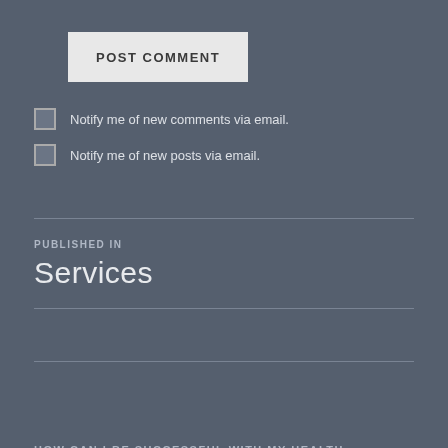POST COMMENT
Notify me of new comments via email.
Notify me of new posts via email.
PUBLISHED IN
Services
HOW CAN I BE SUCCESSFUL WITH MY HEALTH